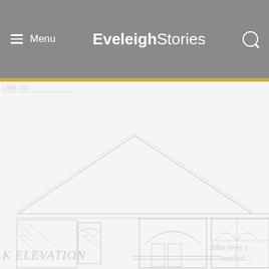≡ Menu   EveleighStories   🔍
[Figure (illustration): Faded architectural elevation drawing of a building facade showing roof lines, arched windows and doors, with text 'K ELEVATION' and 'Blue lines r... toothed...' at the bottom]